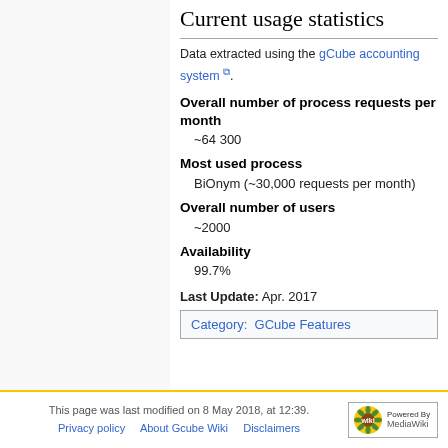Current usage statistics
Data extracted using the gCube accounting system.
Overall number of process requests per month
~64 300
Most used process
BiOnym (~30,000 requests per month)
Overall number of users
~2000
Availability
99.7%
Last Update: Apr. 2017
Category:  GCube Features
This page was last modified on 8 May 2018, at 12:39. Privacy policy   About Gcube Wiki   Disclaimers